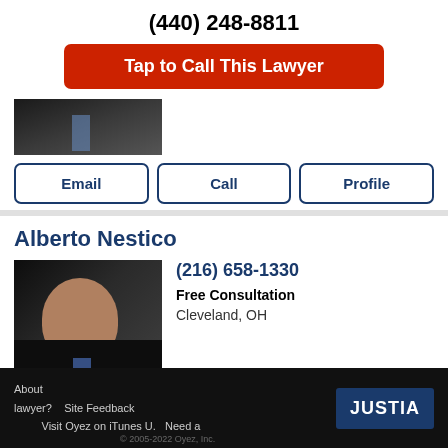(440) 248-8811
Tap to Call This Lawyer
[Figure (photo): Partial photo of a lawyer in a dark suit with a blue tie, cropped at top]
Email
Call
Profile
Alberto Nestico
[Figure (photo): Professional headshot of Alberto Nestico, a man in a dark suit with a blue tie against a dark background]
(216) 658-1330
Free Consultation
Cleveland, OH
Email
Call
Profile
About lawyer? Site Feedback Visit Oyez on iTunes U. Need a JUSTIA © 2005-2022 Oyez, Inc.